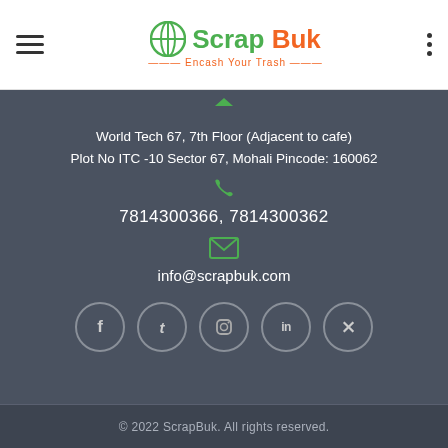ScrapBuk — Encash Your Trash
World Tech 67, 7th Floor (Adjacent to cafe)
Plot No ITC -10 Sector 67, Mohali Pincode: 160062
7814300366, 7814300362
info@scrapbuk.com
[Figure (other): Social media icon buttons: Facebook, Twitter, Instagram, LinkedIn, Pinterest]
© 2022 ScrapBuk. All rights reserved.